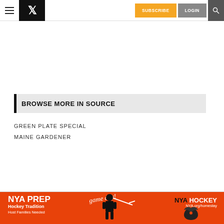P | SUBSCRIBE | LOGIN
BROWSE MORE IN SOURCE
GREEN PLATE SPECIAL
MAINE GARDENER
[Figure (infographic): NYA PREP Hockey Tradition advertisement banner with hockey player, eagle mascot, game day text. NYA HOCKEY NYA.org/homestay Host Families Needed]